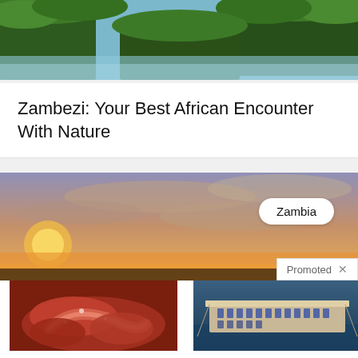[Figure (photo): Top portion of a nature photo showing green forested cliffs and waterfall/river]
Zambezi: Your Best African Encounter With Nature
[Figure (photo): Promotional banner showing Zambia sunset landscape with 'Zambia' badge and 'Promoted X' label]
[Figure (photo): Medical illustration of internal organs (pancreas area)]
[Figure (photo): Aerial photo of cruise ship deck with rows of sun loungers]
Why Doctors In The Know No Longer Prescribe Metformin
113,524
Actual Pictures From Cruise Ships That Will Make You Think Twice Before Booking A Trip
106,890